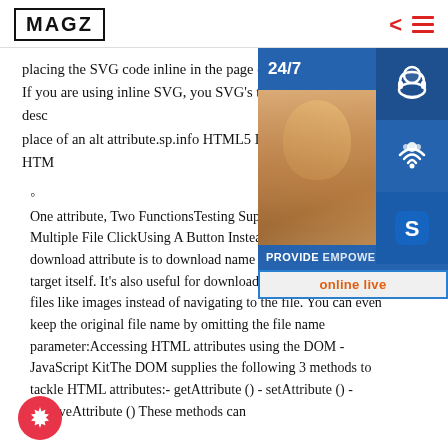MAGZ
placing the SVG code inline in the page content. If you are using inline SVG, you SVG’s title (and potentially desc place of an alt attribute.sp.info HTML5 Download Attribute HTM
[Figure (infographic): Customer support overlay panel with 24/7 label, support agent photo, headset/phone/Skype icons, PROVIDE Empowering Cu... text, and online live button]
One attribute, Two FunctionsTesting SupportDownloading Multiple File ClickUsing A Button Instead of A L use of the download attribute is to download name than the actual link target itself. It’s also useful for downloading browser-friendly files like images instead of navigating to the file. You can even keep the original file name by omitting the file name parameter:Accessing HTML attributes using the DOM - JavaScript KitThe DOM supplies the following 3 methods to tackle HTML attributes:- getAttribute () - setAttribute () - removeAttribute () These methods can
[Figure (infographic): Red circular gear/settings button at bottom left]